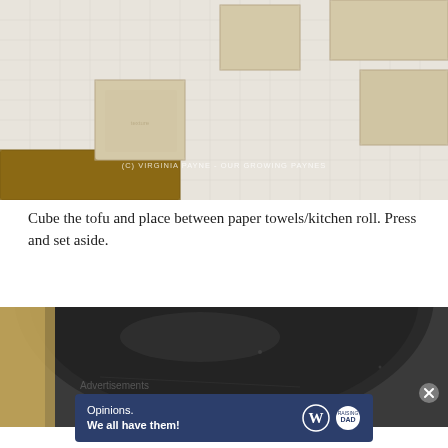[Figure (photo): Cubed tofu pieces arranged on white paper towels/kitchen roll on a wooden surface, viewed from above. Photo watermark reads: (C) VIRGINIA PAYNE - OUR GROWING PAYNES]
Cube the tofu and place between paper towels/kitchen roll. Press and set aside.
[Figure (photo): Close-up photo of a dark (black/grey) cooking pan or pot, viewed from above, showing the interior surface.]
Advertisements
[Figure (infographic): Advertisement banner: dark navy background with text 'Opinions. We all have them!' accompanied by WordPress logo and another circular logo. Close button (X) overlaid on right side.]